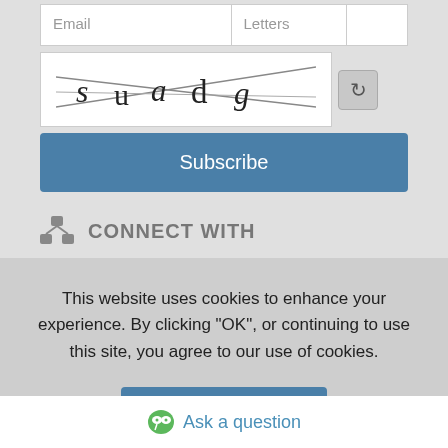[Figure (screenshot): Form inputs: Email field, Letters field, blank field in a row]
[Figure (screenshot): CAPTCHA image showing letters 's u a d g' with crossed lines, and a refresh button]
Subscribe
CONNECT WITH
[Figure (logo): Google Plus (g+) icon in red/orange square]
This website uses cookies to enhance your experience. By clicking "OK", or continuing to use this site, you agree to our use of cookies.
OK
Ask a question